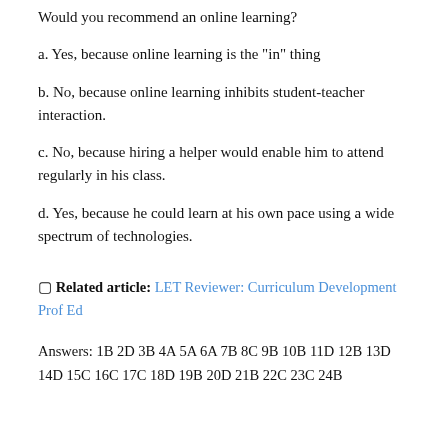Would you recommend an online learning?
a. Yes, because online learning is the "in" thing
b. No, because online learning inhibits student-teacher interaction.
c. No, because hiring a helper would enable him to attend regularly in his class.
d. Yes, because he could learn at his own pace using a wide spectrum of technologies.
🔲 Related article: LET Reviewer: Curriculum Development Prof Ed
Answers: 1B 2D 3B 4A 5A 6A 7B 8C 9B 10B 11D 12B 13D 14D 15C 16C 17C 18D 19B 20D 21B 22C 23C 24B